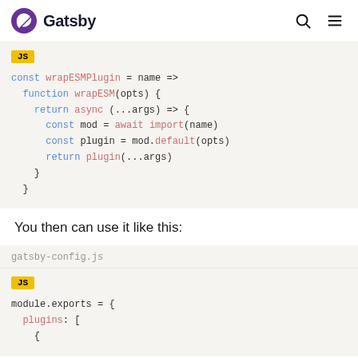Gatsby
[Figure (screenshot): Code block with JS label showing wrapESMPlugin arrow function with async inner function]
You then can use it like this:
gatsby-config.js
[Figure (screenshot): Code block with JS label showing module.exports with plugins array]